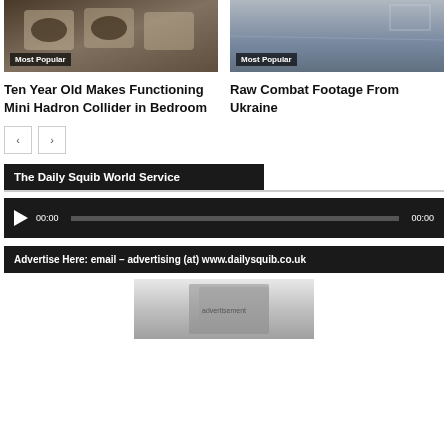[Figure (photo): Photo of students wearing VR/AR headsets in classroom, with Most Popular badge]
[Figure (photo): Raw combat footage from Ukraine, dark aerial/sea view, with Most Popular badge]
Ten Year Old Makes Functioning Mini Hadron Collider in Bedroom
Raw Combat Footage From Ukraine
< > navigation buttons
The Daily Squib World Service
[Figure (other): Audio player widget showing 00:00 / 00:00]
Advertise Here: email – advertising (at) www.dailysquib.co.uk
[Figure (photo): Grayscale book or magazine advertisement image]